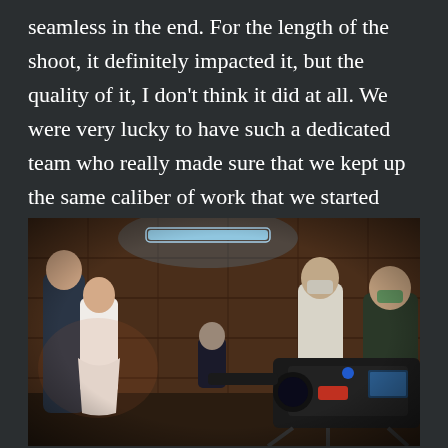seamless in the end. For the length of the shoot, it definitely impacted it, but the quality of it, I don't think it did at all. We were very lucky to have such a dedicated team who really made sure that we kept up the same caliber of work that we started with, which I'm very grateful for.
[Figure (photo): Behind-the-scenes photo on a film set inside a wooden barn-like interior. On the left, two actors (a man and a woman in a white dress/skirt) appear to be in an intimate scene. On the right, a camera crew including people wearing masks are operating a large film camera rig. Blue lighting can be seen in the background.]